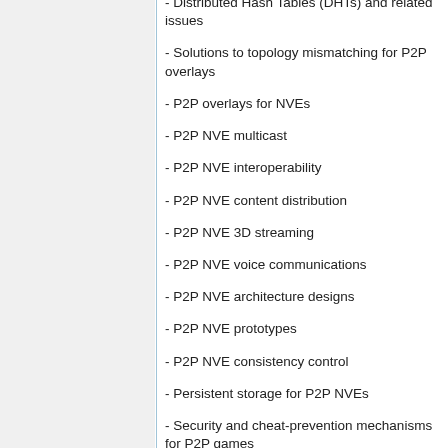- Distributed Hash Tables (DHTs) and related issues
- Solutions to topology mismatching for P2P overlays
- P2P overlays for NVEs
- P2P NVE multicast
- P2P NVE interoperability
- P2P NVE content distribution
- P2P NVE 3D streaming
- P2P NVE voice communications
- P2P NVE architecture designs
- P2P NVE prototypes
- P2P NVE consistency control
- Persistent storage for P2P NVEs
- Security and cheat-prevention mechanisms for P2P games
- P2P control for mobile NVEs